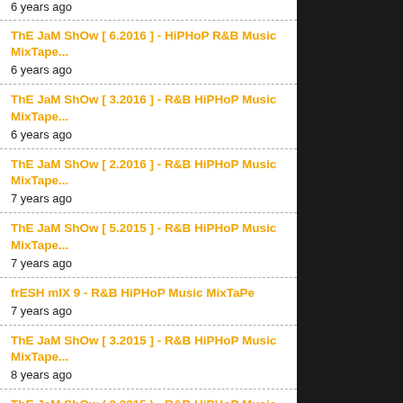6 years ago
ThE JaM ShOw [ 6.2016 ] - HiPHoP R&B Music MixTape...
6 years ago
ThE JaM ShOw [ 3.2016 ] - R&B HiPHoP Music MixTape...
6 years ago
ThE JaM ShOw [ 2.2016 ] - R&B HiPHoP Music MixTape...
7 years ago
ThE JaM ShOw [ 5.2015 ] - R&B HiPHoP Music MixTape...
7 years ago
frESH mIX 9 - R&B HiPHoP Music MixTaPe
7 years ago
ThE JaM ShOw [ 3.2015 ] - R&B HiPHoP Music MixTape...
8 years ago
ThE JaM ShOw ( 2.2015 ) - R&B HiPHoP Music MixTape...
8 years ago